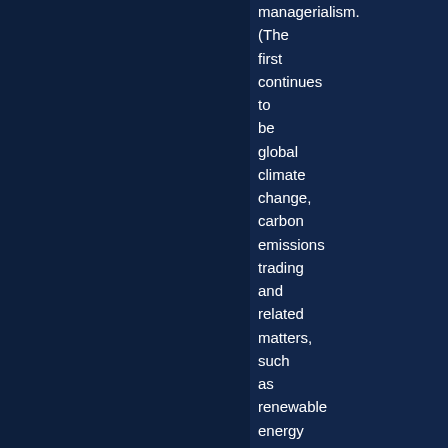managerialism. (The first continues to be global climate change, carbon emissions trading and related matters, such as renewable energy and energy efficiency.)